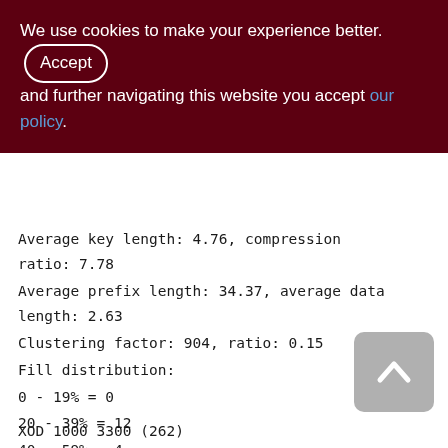We use cookies to make your experience better. By accepting and further navigating this website you accept our policy.
Average key length: 4.76, compression ratio: 7.78
Average prefix length: 34.37, average data length: 2.63
Clustering factor: 904, ratio: 0.15
Fill distribution:
0 - 19% = 0
20 - 39% = 12
40 - 59% = 4
60 - 79% = 0
80 - 99% = 0
XOD 1000 3300 (262)